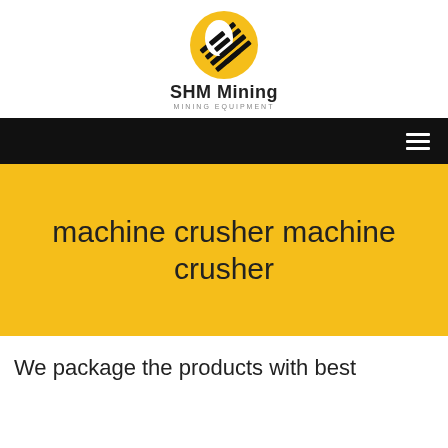[Figure (logo): SHM Mining logo with yellow circle and black diagonal stripes, company name 'SHM Mining' and subtitle 'MINING EQUIPMENT']
machine crusher machine crusher
We package the products with best